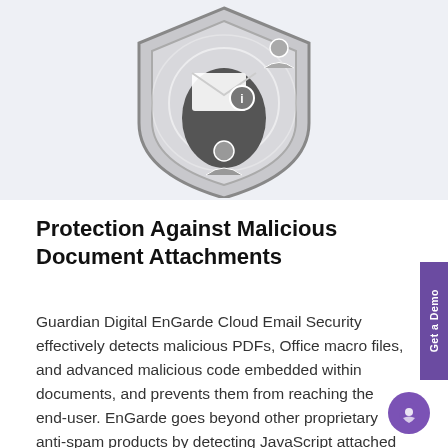[Figure (illustration): A shield icon with an envelope/email symbol and a person silhouette inside, displayed in grayscale on a light gray background. The shield has concentric ring decorations.]
Protection Against Malicious Document Attachments
Guardian Digital EnGarde Cloud Email Security effectively detects malicious PDFs, Office macro files, and advanced malicious code embedded within documents, and prevents them from reaching the end-user. EnGarde goes beyond other proprietary anti-spam products by detecting JavaScript attached to an email or within